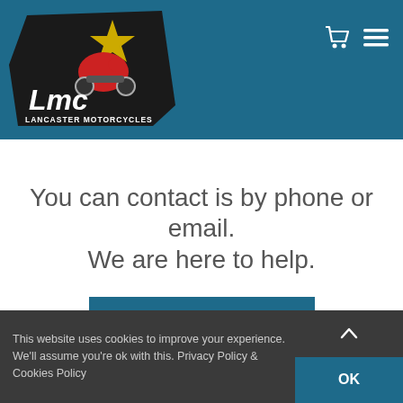[Figure (logo): LMC Lancaster Motorcycles logo on dark background with star and motorcycle rider graphic]
You can contact is by phone or email.
We are here to help.
LEARN MORE
This website uses cookies to improve your experience. We'll assume you're ok with this. Privacy Policy & Cookies Policy